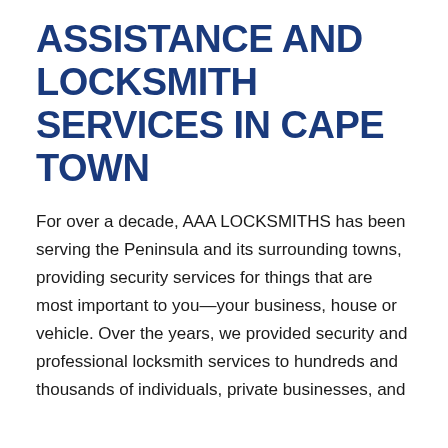ASSISTANCE AND LOCKSMITH SERVICES IN CAPE TOWN
For over a decade, AAA LOCKSMITHS has been serving the Peninsula and its surrounding towns, providing security services for things that are most important to you—your business, house or vehicle. Over the years, we provided security and professional locksmith services to hundreds and thousands of individuals, private businesses, and